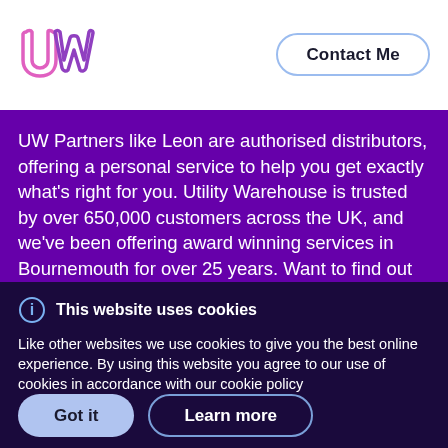[Figure (logo): UW logo in pink/purple outline letters on white background]
Contact Me
UW Partners like Leon are authorised distributors, offering a personal service to help you get exactly what's right for you. Utility Warehouse is trusted by over 650,000 customers across the UK, and we've been offering award winning services in Bournemouth for over 25 years. Want to find out more? Then
This website uses cookies
Like other websites we use cookies to give you the best online experience. By using this website you agree to our use of cookies in accordance with our cookie policy
Got it
Learn more